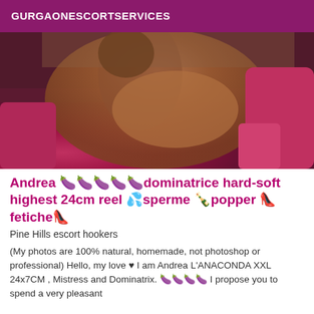GURGAONESCORTSERVICES
[Figure (photo): A person posing on a red/pink sofa in dim lighting]
Andrea 🍆🍆🍆🍆🍆dominatrice hard-soft highest 24cm reel 💦sperme 🍾popper 👠fetiche👠
Pine Hills escort hookers
(My photos are 100% natural, homemade, not photoshop or professional) Hello, my love ♥ I am Andrea L'ANACONDA XXL 24x7CM , Mistress and Dominatrix. 🍆🍆🍆🍆 I propose you to spend a very pleasant